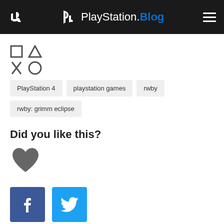PlayStation.Blog
[Figure (logo): PlayStation button symbols icon (square, triangle, cross, circle)]
PlayStation 4
playstation games
rwby
rwby: grimm eclipse
Did you like this?
[Figure (illustration): Gray heart icon for liking]
[Figure (illustration): Facebook and Twitter share buttons]